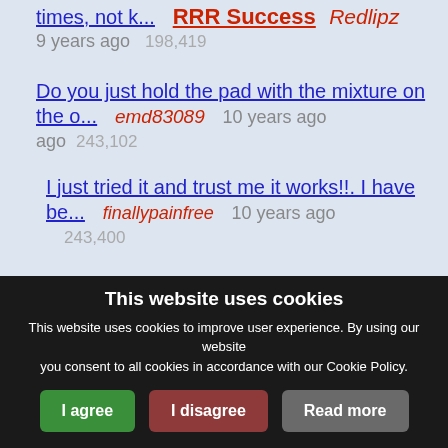times, not k...  RRR Success  Redlipz  9 years ago  198,419
Do you just hold the pad with the mixture on the o...  emd83089  10 years ago  243,102
I just tried it and trust me it works!!. I have be...  finallypainfree  10 years ago  243,400
I have been suffering from these on and off for ye...  gerbera0913  10 years ago  241,062
This website uses cookies
This website uses cookies to improve user experience. By using our website you consent to all cookies in accordance with our Cookie Policy.
I agree  I disagree  Read more